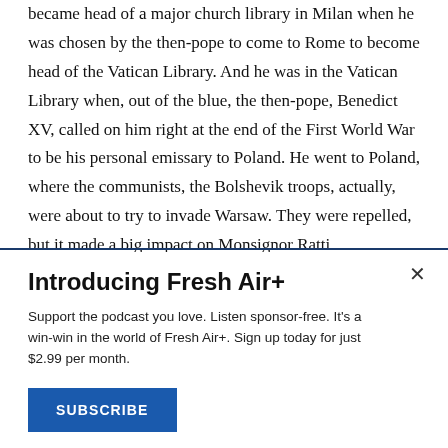became head of a major church library in Milan when he was chosen by the then-pope to come to Rome to become head of the Vatican Library. And he was in the Vatican Library when, out of the blue, the then-pope, Benedict XV, called on him right at the end of the First World War to be his personal emissary to Poland. He went to Poland, where the communists, the Bolshevik troops, actually, were about to try to invade Warsaw. They were repelled, but it made a big impact on Monsignor Ratti.
Introducing Fresh Air+
Support the podcast you love. Listen sponsor-free. It's a win-win in the world of Fresh Air+. Sign up today for just $2.99 per month.
SUBSCRIBE